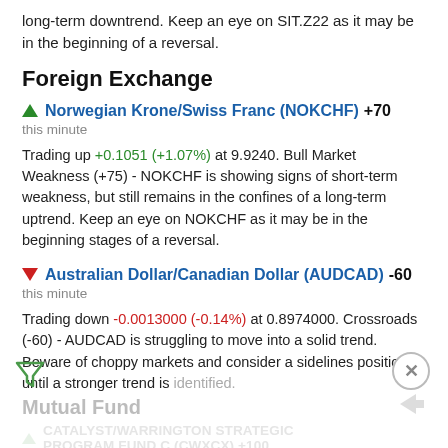long-term downtrend. Keep an eye on SIT.Z22 as it may be in the beginning of a reversal.
Foreign Exchange
▲ Norwegian Krone/Swiss Franc (NOKCHF) +70
this minute
Trading up +0.1051 (+1.07%) at 9.9240. Bull Market Weakness (+75) - NOKCHF is showing signs of short-term weakness, but still remains in the confines of a long-term uptrend. Keep an eye on NOKCHF as it may be in the beginning stages of a reversal.
▼ Australian Dollar/Canadian Dollar (AUDCAD) -60
this minute
Trading down -0.0013000 (-0.14%) at 0.8974000. Crossroads (-60) - AUDCAD is struggling to move into a solid trend. Beware of choppy markets and consider a sidelines position until a stronger trend is identified.
Mutual Fund
CATALYST/WARRINGTON STRATEGIC PROGRAM FUND C (CWXCX) +100